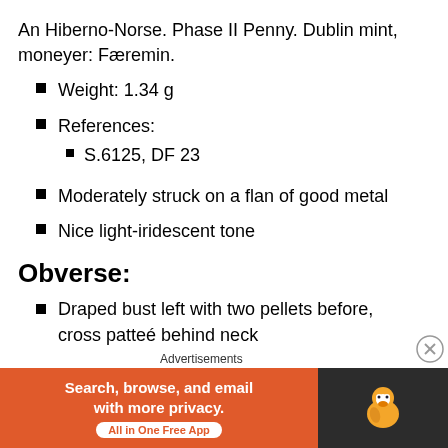An Hiberno-Norse. Phase II Penny. Dublin mint, moneyer: Færemin.
Weight: 1.34 g
References:
S.6125, DF 23
Moderately struck on a flan of good metal
Nice light-iridescent tone
Obverse:
Draped bust left with two pellets before, cross patteé behind neck
Badly blundered legend:
[Figure (screenshot): DuckDuckGo advertisement banner with orange background. Text reads: 'Search, browse, and email with more privacy. All in One Free App'. DuckDuckGo logo on dark background on the right side.]